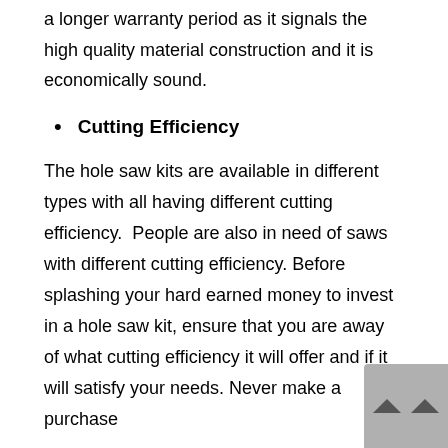a longer warranty period as it signals the high quality material construction and it is economically sound.
Cutting Efficiency
The hole saw kits are available in different types with all having different cutting efficiency.  People are also in need of saws with different cutting efficiency. Before splashing your hard earned money to invest in a hole saw kit, ensure that you are away of what cutting efficiency it will offer and if it will satisfy your needs. Never make a purchase